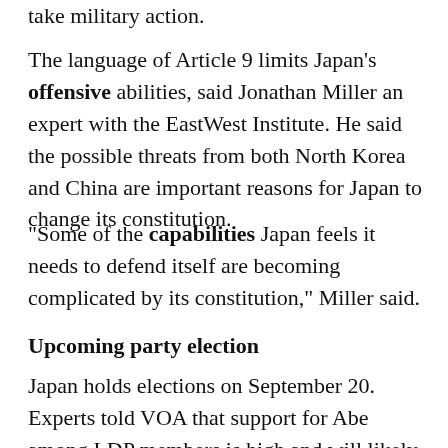take military action.
The language of Article 9 limits Japan's offensive abilities, said Jonathan Miller an expert with the EastWest Institute. He said the possible threats from both North Korea and China are important reasons for Japan to change its constitution.
“Some of the capabilities Japan feels it needs to defend itself are becoming complicated by its constitution,” Miller said.
Upcoming party election
Japan holds elections on September 20. Experts told VOA that support for Abe among LDP members is high and will likely result in another three-year term. This would make Abe Japan’s longest-serving prime